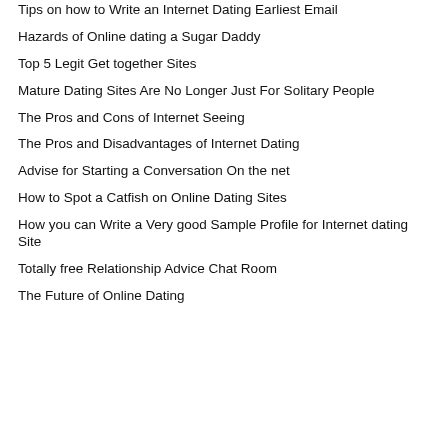Tips on how to Write an Internet Dating Earliest Email
Hazards of Online dating a Sugar Daddy
Top 5 Legit Get together Sites
Mature Dating Sites Are No Longer Just For Solitary People
The Pros and Cons of Internet Seeing
The Pros and Disadvantages of Internet Dating
Advise for Starting a Conversation On the net
How to Spot a Catfish on Online Dating Sites
How you can Write a Very good Sample Profile for Internet dating Site
Totally free Relationship Advice Chat Room
The Future of Online Dating